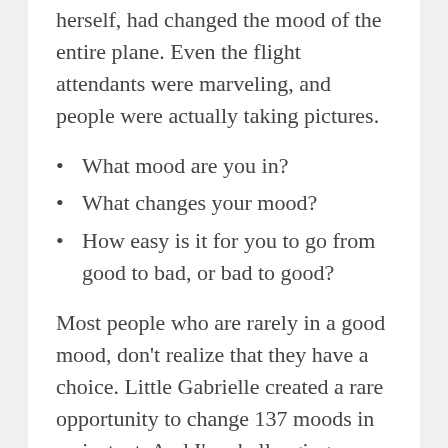herself, had changed the mood of the entire plane. Even the flight attendants were marveling, and people were actually taking pictures.
What mood are you in?
What changes your mood?
How easy is it for you to go from good to bad, or bad to good?
Most people who are rarely in a good mood, don't realize that they have a choice. Little Gabrielle created a rare opportunity to change 137 moods in an instant. And I'm challenging you,